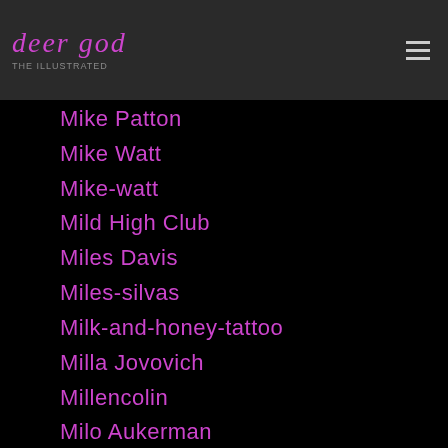deer god
Mike Patton
Mike Watt
Mike-watt
Mild High Club
Miles Davis
Miles-silvas
Milk-and-honey-tattoo
Milla Jovovich
Millencolin
Milo Aukerman
Milo-aukerman
Milos-forman
Milton-martinez
Milwaukee Bucks
Mindless-self-indulgence
Mind Meld
Minimalism